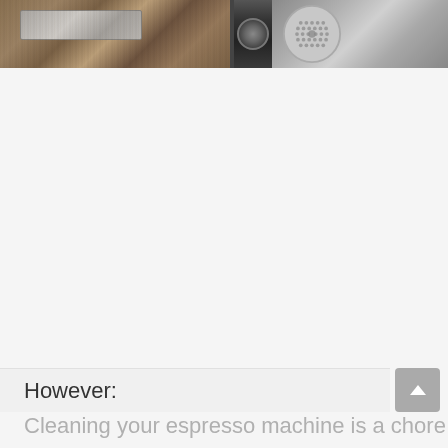[Figure (photo): Two photos side by side: left photo shows espresso machine drip tray with wooden-textured surface and metallic components; right photo shows a portafilter basket/shower screen disc with perforated holes against a dark background]
However:
Cleaning your espresso machine is a chore